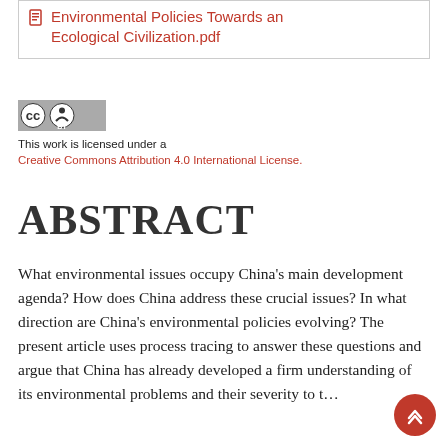On the Development of China's Environmental Policies Towards an Ecological Civilization.pdf
[Figure (logo): Creative Commons BY license badge]
This work is licensed under a Creative Commons Attribution 4.0 International License.
ABSTRACT
What environmental issues occupy China's main development agenda? How does China address these crucial issues? In what direction are China's environmental policies evolving? The present article uses process tracing to answer these questions and argue that China has already developed a firm understanding of its environmental problems and their severity to t...